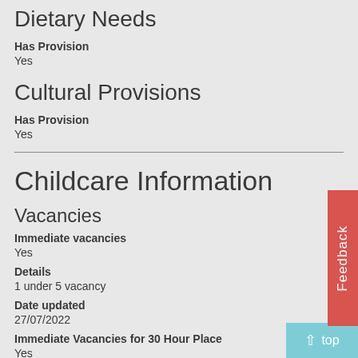Dietary Needs
Has Provision
Yes
Cultural Provisions
Has Provision
Yes
Childcare Information
Vacancies
Immediate vacancies
Yes
Details
1 under 5 vacancy
Date updated
27/07/2022
Immediate Vacancies for 30 Hour Place
Yes